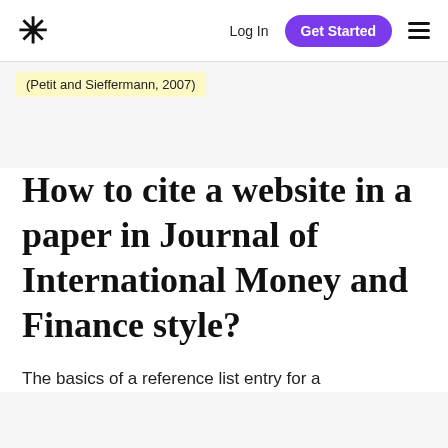* Log In Get Started ≡
(Petit and Sieffermann, 2007)
How to cite a website in a paper in Journal of International Money and Finance style?
The basics of a reference list entry for a